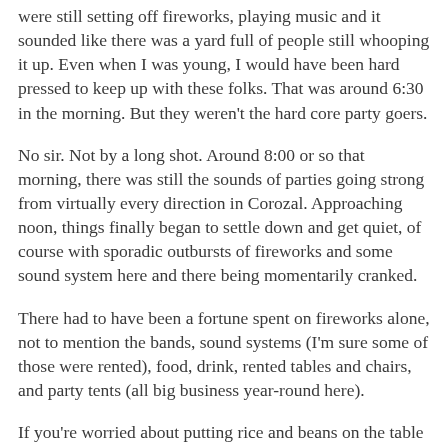were still setting off fireworks, playing music and it sounded like there was a yard full of people still whooping it up. Even when I was young, I would have been hard pressed to keep up with these folks. That was around 6:30 in the morning. But they weren't the hard core party goers.
No sir. Not by a long shot. Around 8:00 or so that morning, there was still the sounds of parties going strong from virtually every direction in Corozal. Approaching noon, things finally began to settle down and get quiet, of course with sporadic outbursts of fireworks and some sound system here and there being momentarily cranked.
There had to have been a fortune spent on fireworks alone, not to mention the bands, sound systems (I'm sure some of those were rented), food, drink, rented tables and chairs, and party tents (all big business year-round here).
If you're worried about putting rice and beans on the table for the family, you're not going to spend near as much on the trappings necessary for a great bashment for your family and friends, so that is my rationale for saying things have improved markedly.